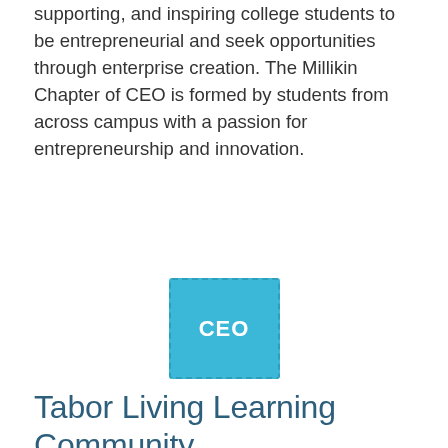supporting, and inspiring college students to be entrepreneurial and seek opportunities through enterprise creation. The Millikin Chapter of CEO is formed by students from across campus with a passion for entrepreneurship and innovation.
[Figure (logo): CEO logo — a sky-blue square with dashed border containing the white text 'CEO']
Tabor Living Learning Community
The Innovation and Entrepreneurship Living Learning Community is a home for the dreamers, creators, and doers. Partnering with the Center for Entrepreneurship and the Tabor School of Business, the Innovation and Entrepreneurship LLC offers opportunities for fellowship, idea-to-incubator programming, and professional development. In addition to Innovation and Entrepreneurship LLC opportunities, residents share a floor